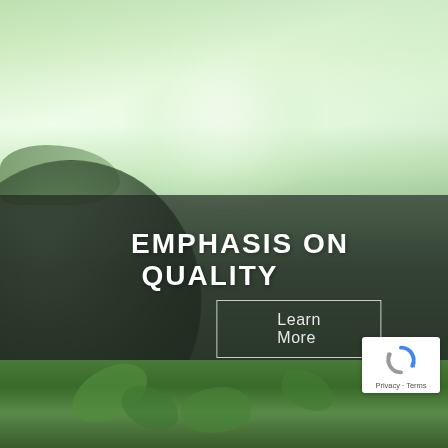[Figure (photo): Blurred green nature background with globe and plants, showing an 'Emphasis on Quality' marketing banner with a 'Learn More' button and reCAPTCHA badge in the bottom right corner.]
EMPHASIS ON QUALITY
Learn More
[Figure (logo): Google reCAPTCHA badge with Privacy and Terms links]